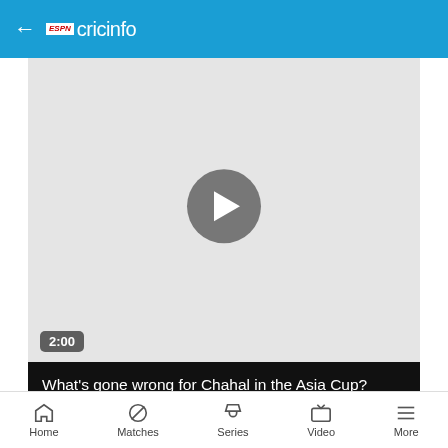ESPN cricinfo
[Figure (screenshot): Video thumbnail showing a grey placeholder with a circular play button in the center, and a duration badge showing 2:00 in the bottom left]
What's gone wrong for Chahal in the Asia Cup?
This time last year, ahead of the T20 World Cup in UAE, Yuzvendra Chahal found himself at a crossroads. The selectors had lost faith in his loopy
Home  Matches  Series  Video  More